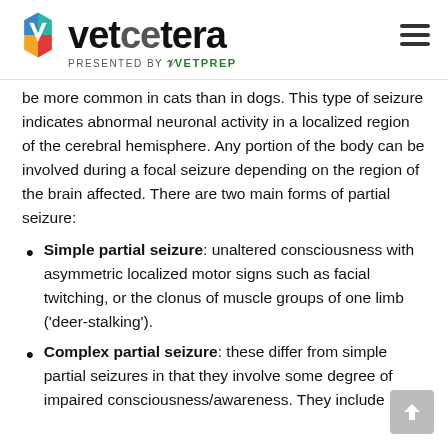vetcetera — PRESENTED BY VetPrep
be more common in cats than in dogs. This type of seizure indicates abnormal neuronal activity in a localized region of the cerebral hemisphere. Any portion of the body can be involved during a focal seizure depending on the region of the brain affected. There are two main forms of partial seizure:
Simple partial seizure: unaltered consciousness with asymmetric localized motor signs such as facial twitching, or the clonus of muscle groups of one limb ('deer-stalking').
Complex partial seizure: these differ from simple partial seizures in that they involve some degree of impaired consciousness/awareness. They include